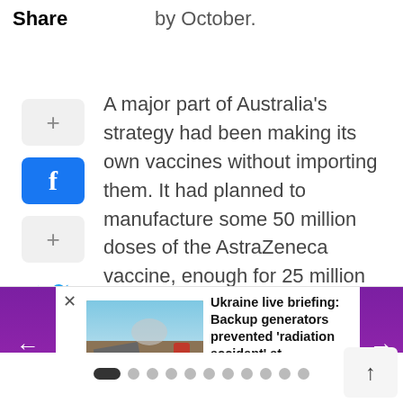by October.
Share
A major part of Australia's strategy had been making its own vaccines without importing them. It had planned to manufacture some 50 million doses of the AstraZeneca vaccine, enough for 25 million people. Australia had made no plans to
[Figure (screenshot): News article card showing Ukraine live briefing headline about backup generators preventing radiation accident at Zaporizhzhia plant, Zelensky says, with navigation arrows and carousel dots]
Ukraine live briefing: Backup generators prevented 'radiation accident' at Zaporizhzhia plant, Zelensky says